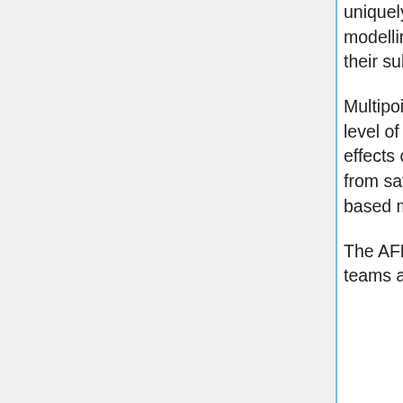uniquely addresses these key topics through state of the art analysis and modelling of the Sun-Earth Chain of Effects on the Earth's ionosphere and their subsequent impacts on communication systems.
Multipoint space observations enable world-leading experts at the highest level of interdisciplinary excellence to forecast the relevant space weather effects on the ionosphere quantitatively. The unique set of measurements from satellites in different orbits is complemented by dedicated ground-based monitoring of auroral electro-jet and iono-spheric activity.
The AFFECTS team consists of key European space weather research teams and the US Space Weather Prediction Center of NOAA. To date no